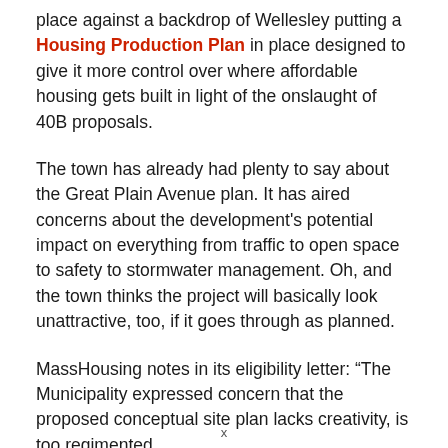place against a backdrop of Wellesley putting a Housing Production Plan in place designed to give it more control over where affordable housing gets built in light of the onslaught of 40B proposals.
The town has already had plenty to say about the Great Plain Avenue plan. It has aired concerns about the development's potential impact on everything from traffic to open space to safety to stormwater management. Oh, and the town thinks the project will basically look unattractive, too, if it goes through as planned.
MassHousing notes in its eligibility letter: “The Municipality expressed concern that the proposed conceptual site plan lacks creativity, is too regimented, and that it does not provide variation in the height o...
x